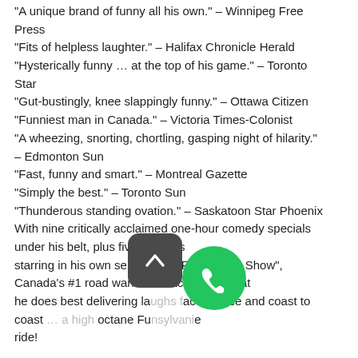"A unique brand of funny all his own." – Winnipeg Free Press
"Fits of helpless laughter." – Halifax Chronicle Herald
"Hysterically funny … at the top of his game." – Toronto Star
"Gut-bustingly, knee slappingly funny." – Ottawa Citizen
"Funniest man in Canada." – Victoria Times-Colonist
"A wheezing, snorting, chortling, gasping night of hilarity." – Edmonton Sun
"Fast, funny and smart." – Montreal Gazette
"Simply the best." – Toronto Sun
"Thunderous standing ovation." – Saskatoon Star Phoenix
With nine critically acclaimed one-hour comedy specials under his belt, plus five seasons starring in his own series, "The Ron James Show", Canada's #1 road warrior is back doing what he does best delivering laughs face to face and coast to coast … a high octane Funsylvania ride!